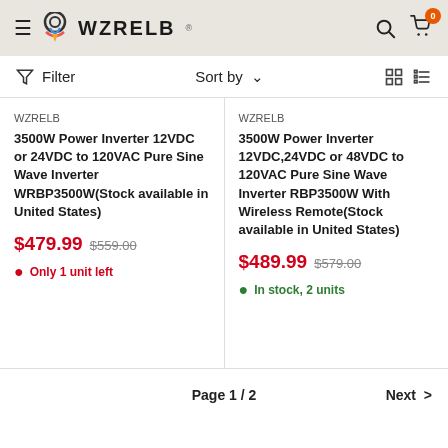WZRELB
Filter  Sort by  [grid/list icons]
WZRELB
3500W Power Inverter 12VDC or 24VDC to 120VAC Pure Sine Wave Inverter WRBP3500W(Stock available in United States)
$479.99  $559.00
Only 1 unit left
WZRELB
3500W Power Inverter 12VDC,24VDC or 48VDC to 120VAC Pure Sine Wave Inverter RBP3500W With Wireless Remote(Stock available in United States)
$489.99  $579.00
In stock, 2 units
Page 1 / 2  Next >